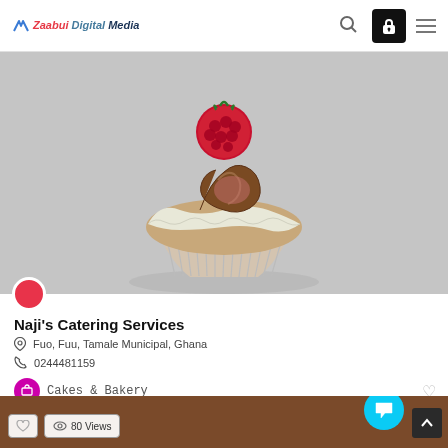Zaabuni Digital Media
[Figure (photo): Close-up photo of a decorated cupcake with chocolate swirl frosting, white cream layer, and a red raspberry on top, in a white paper cup liner, on a light gray background.]
Naji's Catering Services
Fuo, Fuu, Tamale Municipal, Ghana
0244481159
Cakes & Bakery
[Figure (photo): Partial bottom strip showing a brown food item background with view count badge showing 80 Views and a heart icon button.]